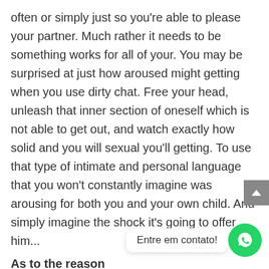often or simply just so you're able to please your partner. Much rather it needs to be something works for all of your. You may be surprised at just how aroused might getting when you use dirty chat. Free your head, unleash that inner section of oneself which is not able to get out, and watch exactly how solid and you will sexual you'll getting. To use that type of intimate and personal language that you won't constantly imagine was arousing for both you and your own child. And simply imagine the shock it's going to offer him...
As to the reason w him
The male is graphic animals, which is why we don push-up bras, challenging hues